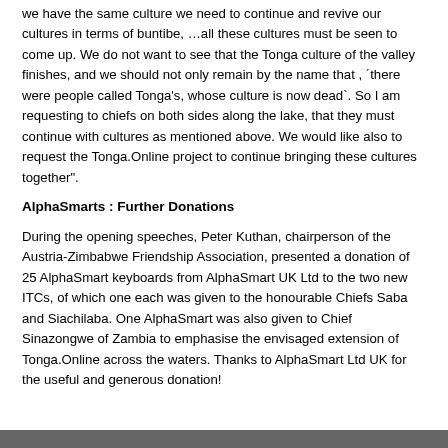we have the same culture we need to continue and revive our cultures in terms of buntibe, …all these cultures must be seen to come up. We do not want to see that the Tonga culture of the valley finishes, and we should not only remain by the name that , ´there were people called Tonga's, whose culture is now dead`. So I am requesting to chiefs on both sides along the lake, that they must continue with cultures as mentioned above. We would like also to request the Tonga.Online project to continue bringing these cultures together".
AlphaSmarts : Further Donations
During the opening speeches, Peter Kuthan, chairperson of the Austria-Zimbabwe Friendship Association, presented a donation of 25 AlphaSmart keyboards from AlphaSmart UK Ltd to the two new ITCs, of which one each was given to the honourable Chiefs Saba and Siachilaba. One AlphaSmart was also given to Chief Sinazongwe of Zambia to emphasise the envisaged extension of Tonga.Online across the waters. Thanks to AlphaSmart Ltd UK for the useful and generous donation!